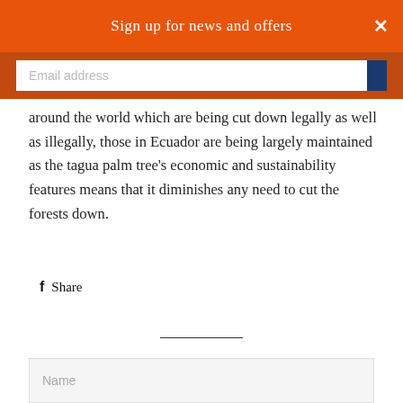Sign up for news and offers
around the world which are being cut down legally as well as illegally, those in Ecuador are being largely maintained as the tagua palm tree's economic and sustainability features means that it diminishes any need to cut the forests down.
f  Share
LEAVE A COMMENT